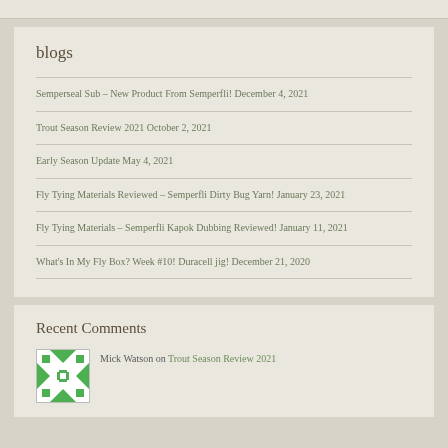blogs
Semperseal Sub – New Product From Semperfli! December 4, 2021
Trout Season Review 2021 October 2, 2021
Early Season Update May 4, 2021
Fly Tying Materials Reviewed – Semperfli Dirty Bug Yarn! January 23, 2021
Fly Tying Materials – Semperfli Kapok Dubbing Reviewed! January 11, 2021
What's In My Fly Box? Week #10! Duracell jig! December 21, 2020
Recent Comments
Mick Watson on Trout Season Review 2021